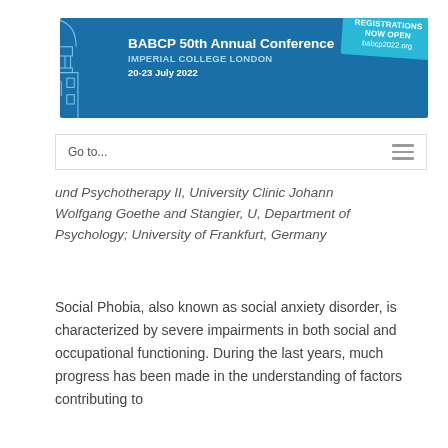[Figure (logo): BABCP 50th Annual Conference banner with dome building illustration, blue background, text: BABCP 50th Annual Conference, IMPERIAL COLLEGE LONDON, 20-23 July 2022, and a REGISTRATIONS NOW OPEN badge with babcp2022.org]
Go to...
und Psychotherapy II, University Clinic Johann Wolfgang Goethe and Stangier, U, Department of Psychology; University of Frankfurt, Germany
Social Phobia, also known as social anxiety disorder, is characterized by severe impairments in both social and occupational functioning. During the last years, much progress has been made in the understanding of factors contributing to